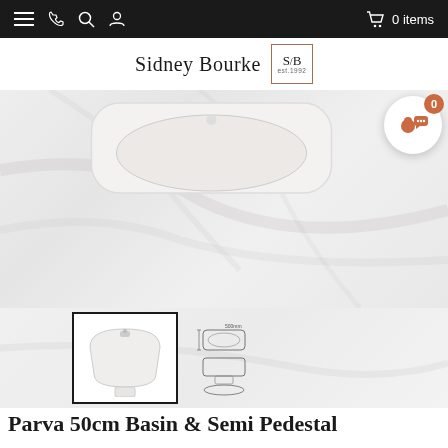☰  ✆  🔍  👤  🛒 0 items
[Figure (logo): Sidney Bourke Kitchens · Bathrooms · Tiles logo with S/B monogram box, est.1992]
[Figure (photo): White ceramic basin/sink product photo on marble-effect background, showing basin from above/front angle]
[Figure (photo): Two product thumbnails: first thumbnail (selected, outlined in black) shows basin with semi pedestal front view; second thumbnail shows technical line drawing dimensions]
Parva 50cm Basin & Semi Pedestal